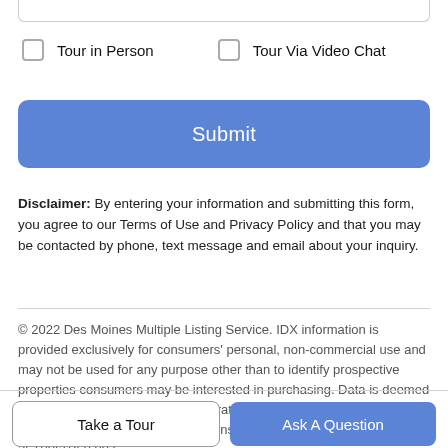Tour in Person
Tour Via Video Chat
Submit
Disclaimer: By entering your information and submitting this form, you agree to our Terms of Use and Privacy Policy and that you may be contacted by phone, text message and email about your inquiry.
© 2022 Des Moines Multiple Listing Service. IDX information is provided exclusively for consumers' personal, non-commercial use and may not be used for any purpose other than to identify prospective properties consumers may be interested in purchasing. Data is deemed reliable but is not guaranteed accurate by the MLS or Better Homes and Gardens Real Estate Innovations. Data last updated: 2022-08-26T00:21:58.897.
Take a Tour
Ask A Question